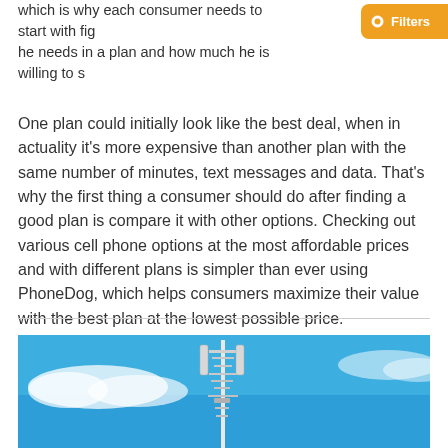which is why each consumer needs to start with fig he needs in a plan and how much he is willing to s
One plan could initially look like the best deal, when in actuality it's more expensive than another plan with the same number of minutes, text messages and data. That's why the first thing a consumer should do after finding a good plan is compare it with other options. Checking out various cell phone options at the most affordable prices and with different plans is simpler than ever using PhoneDog, which helps consumers maximize their value with the best plan at the lowest possible price.
[Figure (photo): A cell phone tower against a blue sky with white clouds.]